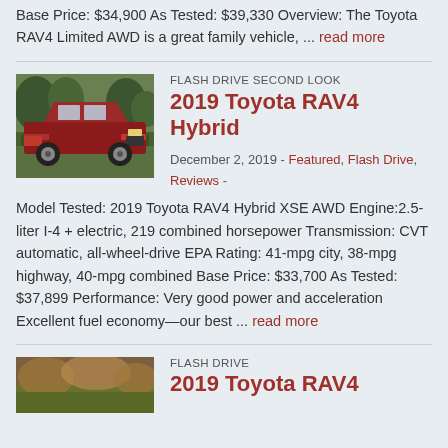Base Price: $34,900 As Tested: $39,330 Overview: The Toyota RAV4 Limited AWD is a great family vehicle, ... read more
[Figure (photo): Red 2019 Toyota RAV4 Hybrid SUV parked on grass with trees in background]
FLASH DRIVE SECOND LOOK
2019 Toyota RAV4 Hybrid
December 2, 2019 - Featured, Flash Drive, Reviews -
Model Tested: 2019 Toyota RAV4 Hybrid XSE AWD Engine:2.5-liter I-4 + electric, 219 combined horsepower Transmission: CVT automatic, all-wheel-drive EPA Rating: 41-mpg city, 38-mpg highway, 40-mpg combined Base Price: $33,700 As Tested: $37,899 Performance: Very good power and acceleration Excellent fuel economy—our best ... read more
FLASH DRIVE
2019 Toyota RAV4